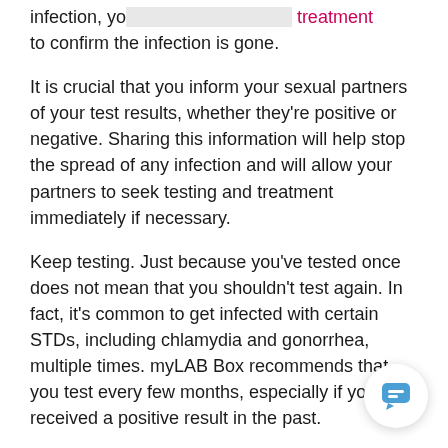infection, you may need follow-up treatment to confirm the infection is gone.
It is crucial that you inform your sexual partners of your test results, whether they're positive or negative. Sharing this information will help stop the spread of any infection and will allow your partners to seek testing and treatment immediately if necessary.
Keep testing. Just because you've tested once does not mean that you shouldn't test again. In fact, it's common to get infected with certain STDs, including chlamydia and gonorrhea, multiple times. myLAB Box recommends that you test every few months, especially if you've received a positive result in the past.
[Figure (other): Chat bubble icon button in bottom right corner]